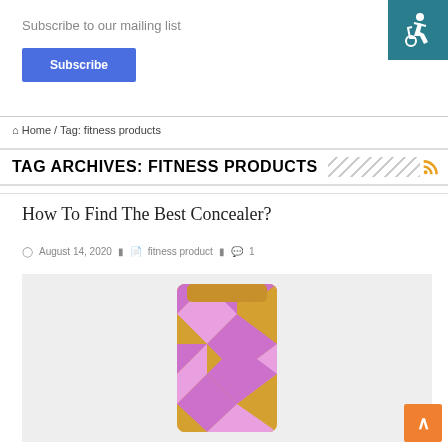Subscribe to our mailing list
Subscribe
Home / Tag: fitness products
TAG ARCHIVES: FITNESS PRODUCTS
How To Find The Best Concealer?
August 14, 2020   fitness product   1
[Figure (photo): Product image of a pink and gold patterned cosmetic concealer tube on a light grey background]